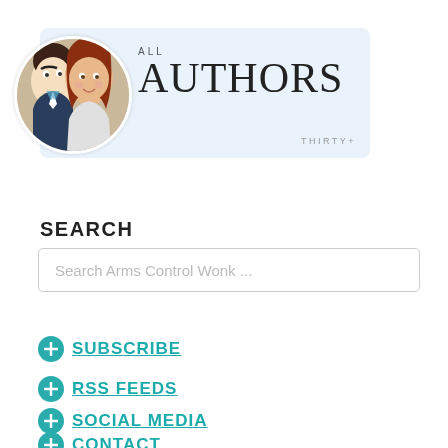[Figure (logo): All Authors logo with cartoon male and female faces in a circle, text reading ALL AUTHORS with THIRTY+ tag on light blue background]
SEARCH
Search Arms Control Wonk ...
SUBSCRIBE
RSS FEEDS
SOCIAL MEDIA
CONTACT